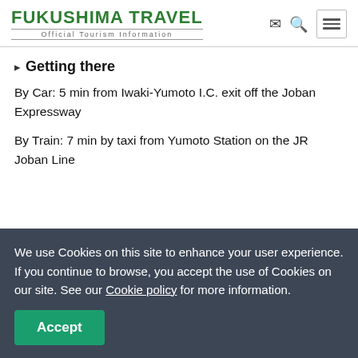FUKUSHIMA TRAVEL — Official Tourism Information
Getting there
By Car: 5 min from Iwaki-Yumoto I.C. exit off the Joban Expressway
By Train: 7 min by taxi from Yumoto Station on the JR Joban Line
We use Cookies on this site to enhance your user experience. If you continue to browse, you accept the use of Cookies on our site. See our Cookie policy for more information.
Accept